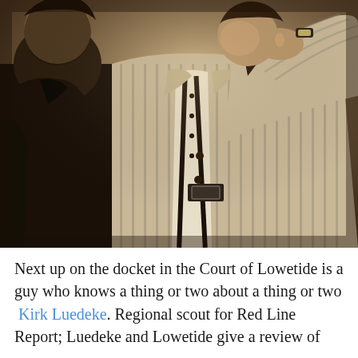[Figure (photo): Sepia-toned black and white photograph of two men. The man on the right is wearing a striped blazer over an open-collar striped shirt with suspenders. The man on the left is wearing a dark leather jacket. Both are posed facing the camera in a studio-style setting.]
Next up on the docket in the Court of Lowetide is a guy who knows a thing or two about a thing or two  Kirk Luedeke. Regional scout for Red Line Report; Luedeke and Lowetide give a review of